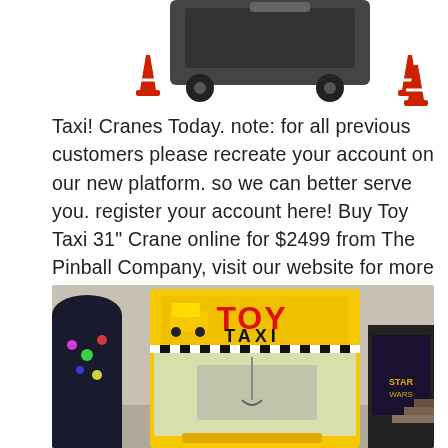[Figure (photo): Toy crane machine with traffic cones, viewed from above/side — partial top image cropped]
Taxi! Cranes Today. note: for all previous customers please recreate your account on our new platform. so we can better serve you. register your account here! Buy Toy Taxi 31" Crane online for $2499 from The Pinball Company, visit our website for more information..
[Figure (photo): Photo of a yellow Toy Taxi claw crane arcade machine in a game room, with other arcade machines visible on the sides.]